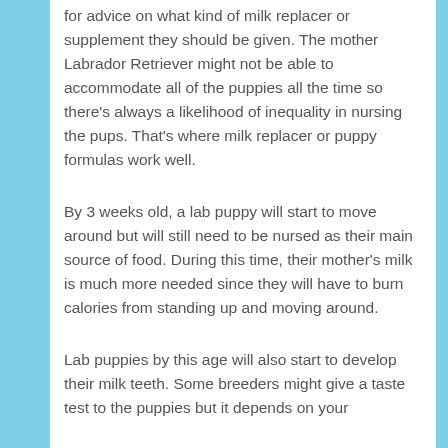for advice on what kind of milk replacer or supplement they should be given. The mother Labrador Retriever might not be able to accommodate all of the puppies all the time so there's always a likelihood of inequality in nursing the pups. That's where milk replacer or puppy formulas work well.
By 3 weeks old, a lab puppy will start to move around but will still need to be nursed as their main source of food. During this time, their mother's milk is much more needed since they will have to burn calories from standing up and moving around.
Lab puppies by this age will also start to develop their milk teeth. Some breeders might give a taste test to the puppies but it depends on your